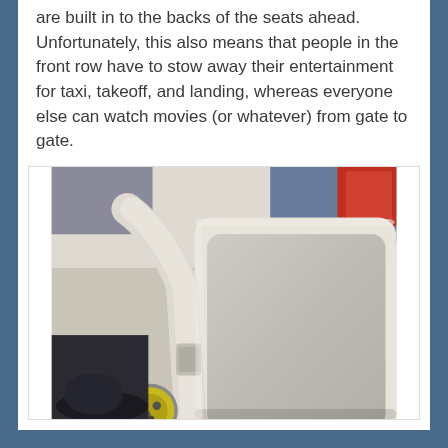are built in to the backs of the seats ahead. Unfortunately, this also means that people in the front row have to stow away their entertainment for taxi, takeoff, and landing, whereas everyone else can watch movies (or whatever) from gate to gate.
[Figure (photo): Close-up photo of an airplane tray table, showing a white/beige folding tray table mechanism attached to armrest or bulkhead, with a latch mechanism visible. Background shows airplane interior with a person's legs and red bag partially visible.]